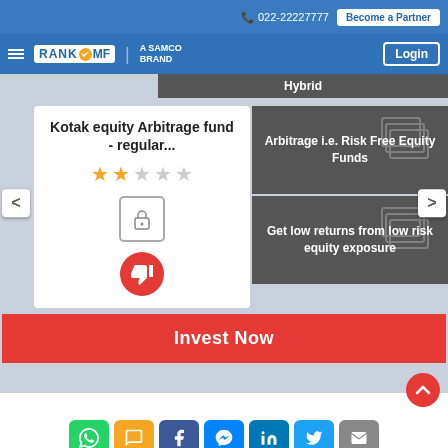022-22227777   Become a Partner
[Figure (logo): RankMF - A Samco Brand logo with hamburger menu and Login button]
Hybrid
Kotak equity Arbitrage fund - regular...
[Figure (other): 2-star rating out of 5 stars]
[Figure (other): Lock icon in bordered box]
[Figure (other): Thumbs down icon in red circle]
Arbitrage i.e. Risk Free Equity Funds
Get low returns from low risk equity exposure
Invest Now
Social share buttons: WhatsApp, SMS, Facebook, Messenger, LinkedIn, Twitter, Email